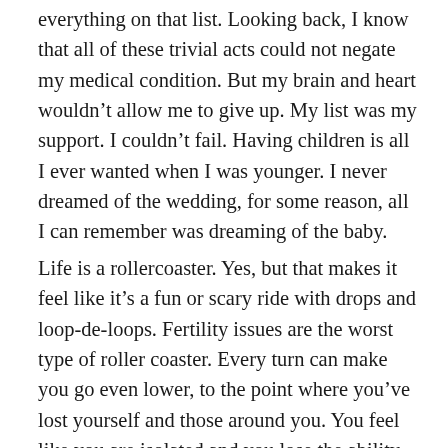everything on that list. Looking back, I know that all of these trivial acts could not negate my medical condition. But my brain and heart wouldn't allow me to give up. My list was my support. I couldn't fail. Having children is all I ever wanted when I was younger. I never dreamed of the wedding, for some reason, all I can remember was dreaming of the baby.
Life is a rollercoaster. Yes, but that makes it feel like it's a fun or scary ride with drops and loop-de-loops. Fertility issues are the worst type of roller coaster. Every turn can make you go even lower, to the point where you've lost yourself and those around you. You feel like you are isolated and you lose the ability to fight. You are so used to going down, that